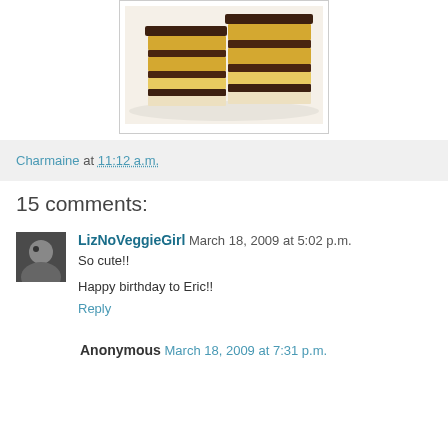[Figure (photo): Layered chocolate and cream cake bars/petit fours on a white plate, showing multiple alternating layers of chocolate and yellow cake]
Charmaine at 11:12 a.m.
15 comments:
LizNoVeggieGirl March 18, 2009 at 5:02 p.m.
So cute!!

Happy birthday to Eric!!
Reply
Anonymous March 18, 2009 at 7:31 p.m.